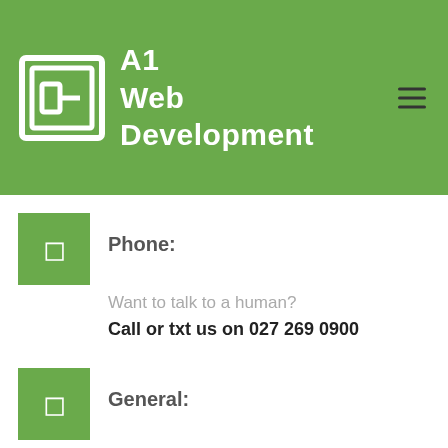A1 Web Development
Phone:
Want to talk to a human?
Call or txt us on 027 269 0900
General:
For all General Enquiries please email us at hello@a1webdevelopmentnz.com  or connect though live chat
Or use the contact us form to the side
Support:
For Support you can email